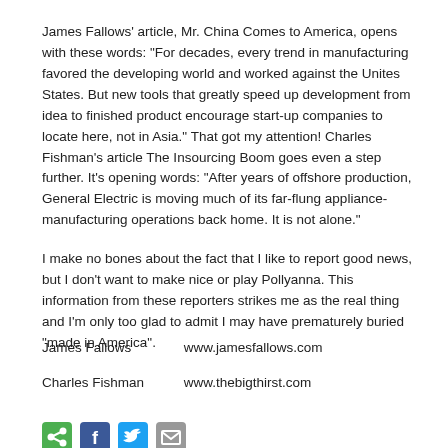James Fallows' article, Mr. China Comes to America, opens with these words: “For decades, every trend in manufacturing favored the developing world and worked against the Unites States. But new tools that greatly speed up development from idea to finished product encourage start-up companies to locate here, not in Asia.” That got my attention! Charles Fishman’s article The Insourcing Boom goes even a step further. It’s opening words: “After years of offshore production, General Electric is moving much of its far-flung appliance-manufacturing operations back home. It is not alone.”
I make no bones about the fact that I like to report good news, but I don’t want to make nice or play Pollyanna. This information from these reporters strikes me as the real thing and I’m only too glad to admit I may have prematurely buried “made in America”.
James Fallows        www.jamesfallows.com
Charles Fishman    www.thebigthirst.com
[Figure (illustration): Row of social sharing icons: green share icon, blue Facebook icon, blue Twitter bird icon, grey email envelope icon]